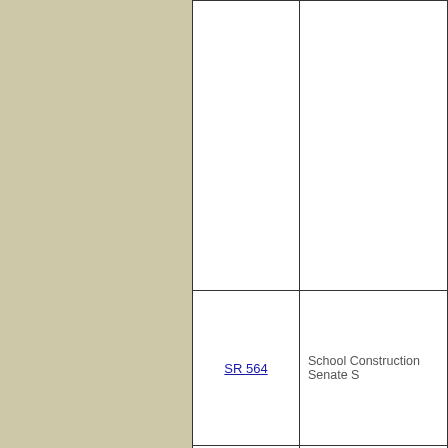| Bill | Description |
| --- | --- |
|  |  |
| SR 564 | School Construction Senate S |
| SR 594 | Rate of Diagnosis for Childre Deficit Hyperactivity Disord Committee |